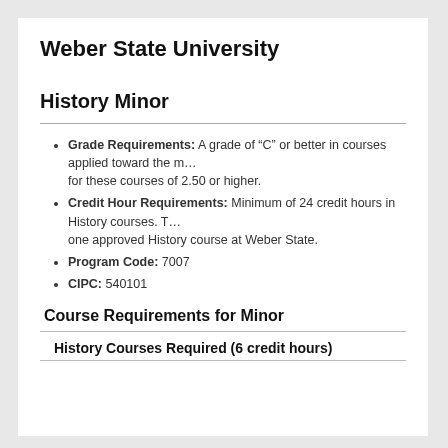Weber State University
History Minor
Grade Requirements: A grade of “C” or better in courses applied toward the minor, and a GPA for these courses of 2.50 or higher.
Credit Hour Requirements: Minimum of 24 credit hours in History courses. The student must take at least one approved History course at Weber State.
Program Code: 7007
CIPC: 540101
Course Requirements for Minor
History Courses Required (6 credit hours)